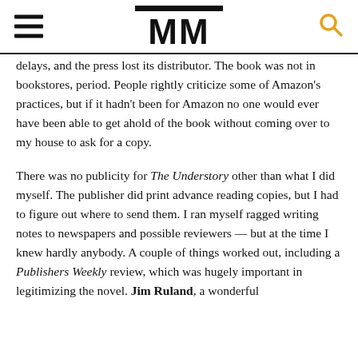MM
delays, and the press lost its distributor. The book was not in bookstores, period. People rightly criticize some of Amazon's practices, but if it hadn't been for Amazon no one would ever have been able to get ahold of the book without coming over to my house to ask for a copy.
There was no publicity for The Understory other than what I did myself. The publisher did print advance reading copies, but I had to figure out where to send them. I ran myself ragged writing notes to newspapers and possible reviewers — but at the time I knew hardly anybody. A couple of things worked out, including a Publishers Weekly review, which was hugely important in legitimizing the novel. Jim Ruland, a wonderful